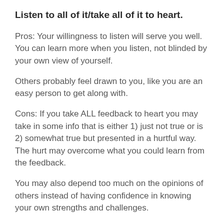Listen to all of it/take all of it to heart.
Pros: Your willingness to listen will serve you well. You can learn more when you listen, not blinded by your own view of yourself.
Others probably feel drawn to you, like you are an easy person to get along with.
Cons: If you take ALL feedback to heart you may take in some info that is either 1) just not true or is 2) somewhat true but presented in a hurtful way. The hurt may overcome what you could learn from the feedback.
You may also depend too much on the opinions of others instead of having confidence in knowing your own strengths and challenges.
Consider it thoughtfully, absorbing what I feel is helpful